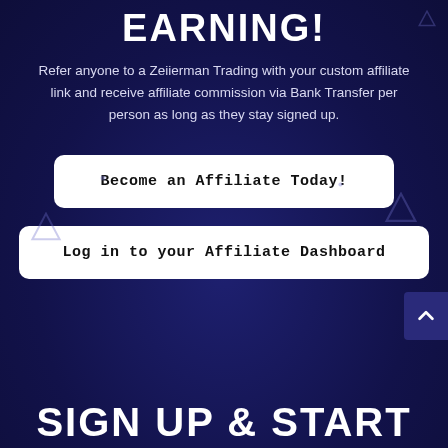EARNING!
Refer anyone to a Zeiierman Trading with your custom affiliate link and receive affiliate commission via Bank Transfer per person as long as they stay signed up.
Become an Affiliate Today!
Log in to your Affiliate Dashboard
SIGN UP & START